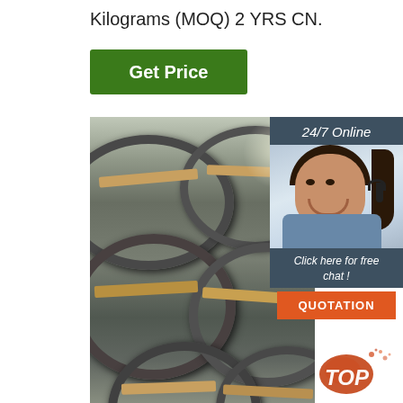Kilograms (MOQ) 2 YRS CN.
[Figure (other): Green 'Get Price' button]
[Figure (photo): Large industrial warehouse photo showing coils of steel wire rods bundled with tan/yellow straps, stacked in rows]
[Figure (infographic): 24/7 Online customer service sidebar with woman wearing headset, 'Click here for free chat!' text, and orange QUOTATION button]
[Figure (logo): TOP badge logo in lower right corner with red/orange circular design]